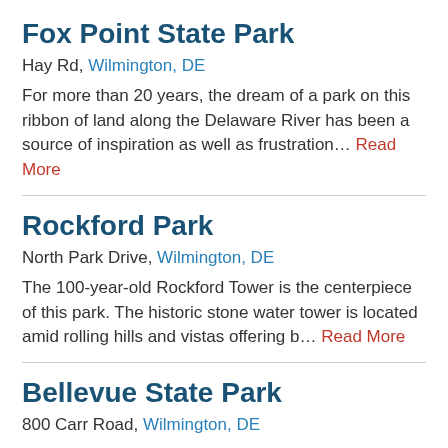Fox Point State Park
Hay Rd, Wilmington, DE
For more than 20 years, the dream of a park on this ribbon of land along the Delaware River has been a source of inspiration as well as frustration… Read More
Rockford Park
North Park Drive, Wilmington, DE
The 100-year-old Rockford Tower is the centerpiece of this park. The historic stone water tower is located amid rolling hills and vistas offering b… Read More
Bellevue State Park
800 Carr Road, Wilmington, DE
About the ParkBellevue Hall commands a grand view of this historic estate, and its present form reflects